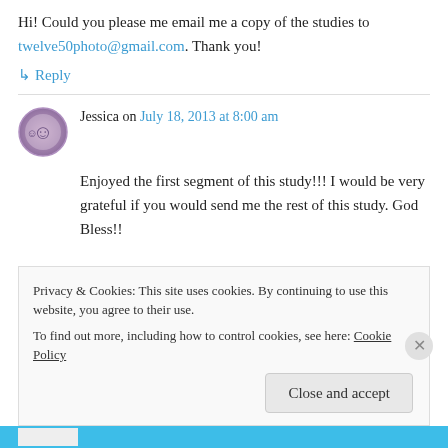Hi! Could you please me email me a copy of the studies to twelve50photo@gmail.com. Thank you!
↳ Reply
Jessica on July 18, 2013 at 8:00 am
Enjoyed the first segment of this study!!! I would be very grateful if you would send me the rest of this study. God Bless!!
Privacy & Cookies: This site uses cookies. By continuing to use this website, you agree to their use. To find out more, including how to control cookies, see here: Cookie Policy
Close and accept